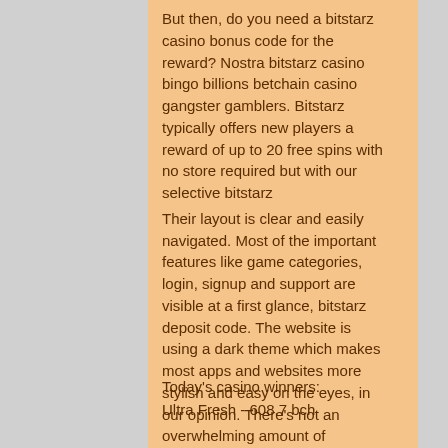But then, do you need a bitstarz casino bonus code for the reward? Nostra bitstarz casino bingo billions betchain casino gangster gamblers. Bitstarz typically offers new players a reward of up to 20 free spins with no store required but with our selective bitstarz
Their layout is clear and easily navigated. Most of the important features like game categories, login, signup and support are visible at a first glance, bitstarz deposit code. The website is using a dark theme which makes most apps and websites more stylish and easy on the eyes, in our opinion. There's not an overwhelming amount of information or flashy animations being displayed, except for a window that shows the casino's current promotions and bonuses.
Today's casino winners:
Ultra Fresh - 608.7 bch